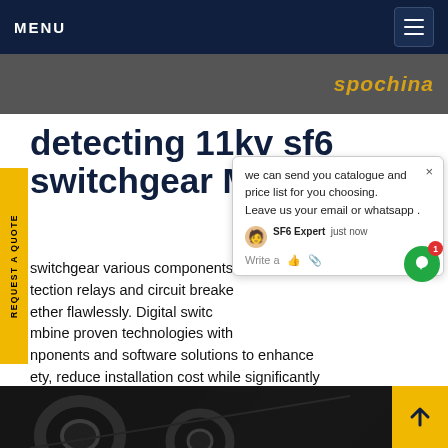MENU
[Figure (screenshot): Dark header image with brand text 'spochina' in gold italic]
detecting 11kv sf6 switchgear Mexico
switchgear various components, tection relays and circuit breakers k ether flawlessly. Digital switc combine proven technologies with components and software solutions to enhance ety, reduce installation cost while significantly uce space needed and optimize operational cost while constantly detecting condition and Get price
[Figure (screenshot): Chat popup overlay: 'we can send you catalogue and price list for you choosing. Leave us your email or whatsapp.' with SF6 Expert label and chat input row. Green chat button with badge '1'.]
[Figure (photo): Dark background photo showing mechanical/electrical gear equipment]
REQUEST A QUOTE (side tab)